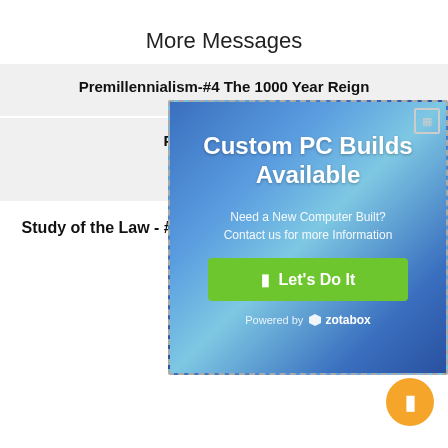More Messages
Premillennialism-#4 The 1000 Year Reign
[Figure (infographic): Advertisement overlay: 'Custom PC Builds Available - Need a New Computer Built? Contact us for more Information' with a green 'Let's Do It' button and 'Powered by zotabox' at the bottom. Blue gradient background.]
Premillennialism
April 17, 2022
Listen
Study of the Law - #4 - Honor Your Father and Mother
Mike Hughes